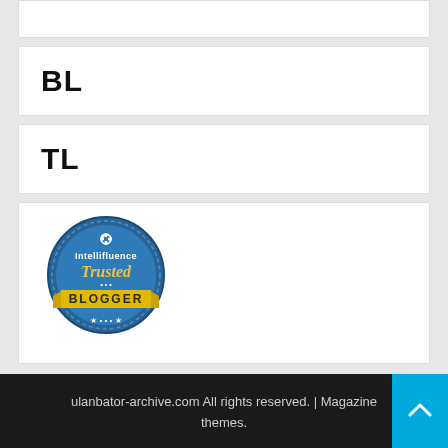BL
TL
[Figure (logo): Intellifluence Trusted Blogger badge — circular blue badge with yellow ribbon banner and text 'Trusted BLOGGER']
ulanbator-archive.com All rights reserved. | Magazine themes.